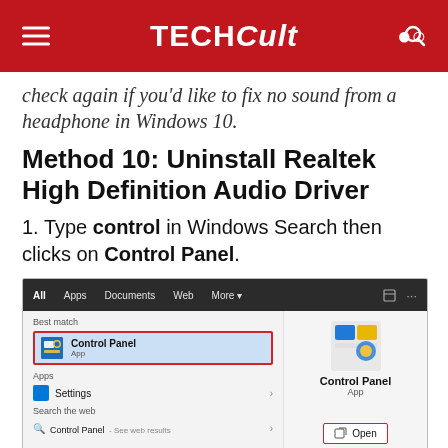TECHCult
check again if you'd like to fix no sound from a headphone in Windows 10.
Method 10: Uninstall Realtek High Definition Audio Driver
1. Type control in Windows Search then clicks on Control Panel.
[Figure (screenshot): Windows Search showing Control Panel result highlighted with a red border. Right panel shows Control Panel icon with Open button highlighted in red.]